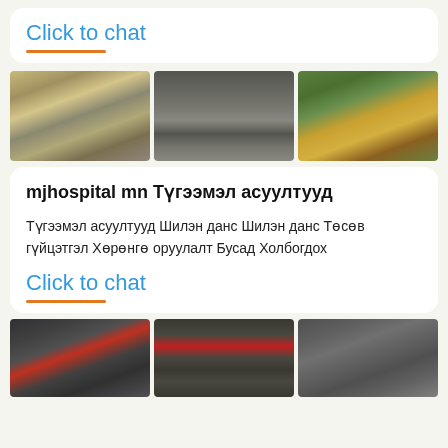Click to chat
[Figure (photo): Three industrial/mining site photos shown in a horizontal row: aerial quarry with machinery, metal plate with holes closeup, mining site with cone crusher and yellow equipment.]
mjhospital mn Түгээмэл асуултууд
Түгээмэл асуултууд Шилэн данс Шилэн данс Төсөв гүйцэтгэл Хөрөнгө оруулалт Бусад Холбогдох
Click to chat
[Figure (photo): Three industrial machinery photos shown in a horizontal row: large industrial mill/grinder, cone crusher in factory, industrial pipe/duct system.]